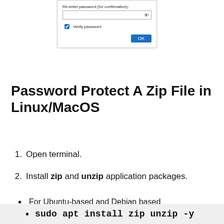[Figure (screenshot): Dialog box with 'Re-enter password (for confirmation):' label, a password input field with an eye icon, a 'Verify password' checkbox, and an OK button in blue.]
Password Protect A Zip File in Linux/MacOS
1. Open terminal.
2. Install zip and unzip application packages.
For Ubuntu-based and Debian based
sudo apt install zip unzip -y